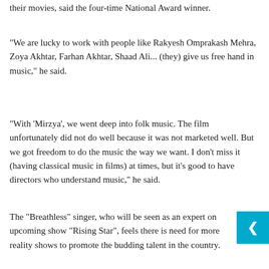their movies, said the four-time National Award winner.
"We are lucky to work with people like Rakyesh Omprakash Mehra, Zoya Akhtar, Farhan Akhtar, Shaad Ali... (they) give us free hand in music," he said.
"With 'Mirzya', we went deep into folk music. The film unfortunately did not do well because it was not marketed well. But we got freedom to do the music the way we want. I don't miss it (having classical music in films) at times, but it's good to have directors who understand music," he said.
The "Breathless" singer, who will be seen as an expert on upcoming show "Rising Star", feels there is need for more reality shows to promote the budding talent in the country.